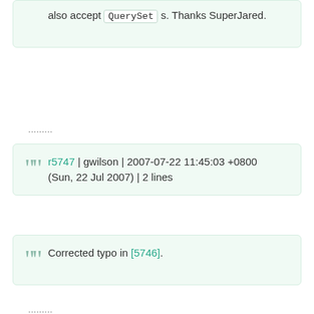also accept QuerySet s. Thanks SuperJared.
.........
r5747 | gwilson | 2007-07-22 11:45:03 +0800 (Sun, 22 Jul 2007) | 2 lines
.........
Corrected typo in [5746].
.........